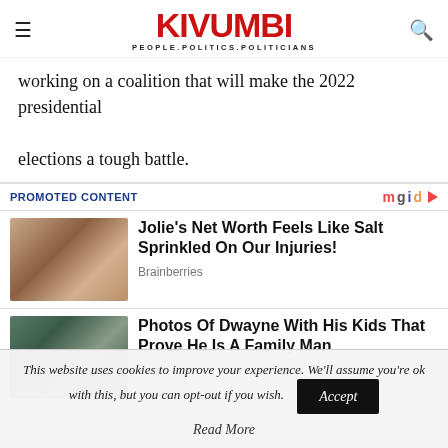KIVUMBI — PEOPLE.POLITICS.POLITICIANS
working on a coalition that will make the 2022 presidential elections a tough battle.
PROMOTED CONTENT
[Figure (photo): Photo of a woman with brown hair (Angelina Jolie)]
Jolie's Net Worth Feels Like Salt Sprinkled On Our Injuries!
Brainberries
[Figure (photo): Photo of a man with a baby (Dwayne Johnson with his kid)]
Photos Of Dwayne With His Kids That Prove He Is A Family Man
This website uses cookies to improve your experience. We'll assume you're ok with this, but you can opt-out if you wish.
Read More